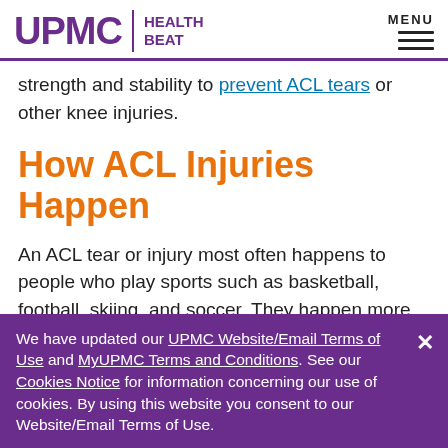UPMC HEALTH BEAT
strength and stability to prevent ACL tears or other knee injuries.
How ACL Injuries Happen
An ACL tear or injury most often happens to people who play sports such as basketball, football, skiing, and soccer. They happen more often in women than men. Doctors have many
We have updated our UPMC Website/Email Terms of Use and MyUPMC Terms and Conditions. See our Cookies Notice for information concerning our use of cookies. By using this website you consent to our Website/Email Terms of Use.